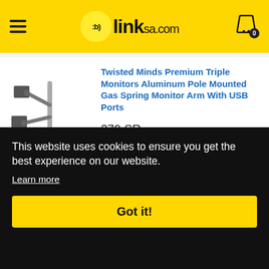[Figure (logo): BlinkSA.com website header with yellow background, hamburger menu on left, blinksa.com logo in center, shopping cart icon with 0 badge on right]
[Figure (photo): Triple monitor arm product photo showing aluminum pole mounted gas spring monitor arm]
Twisted Minds Premium Triple Monitors Aluminum Pole Mounted Gas Spring Monitor Arm With USB Ports
379 SR
This website uses cookies to ensure you get the best experience on our website.
Learn more
Got it!